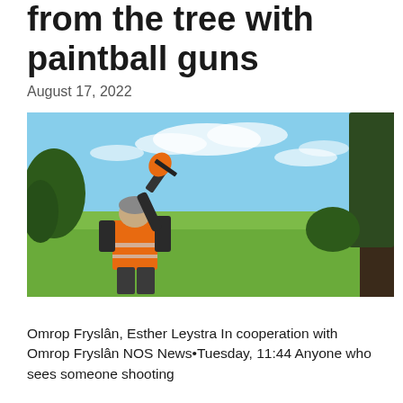from the tree with paintball guns
August 17, 2022
[Figure (photo): A person wearing an orange safety vest aims a paintball gun upward toward a tree. The background shows a flat green field under a blue sky with scattered clouds.]
Omrop Fryslân, Esther Leystra In cooperation with Omrop Fryslân NOS News•Tuesday, 11:44 Anyone who sees someone shooting